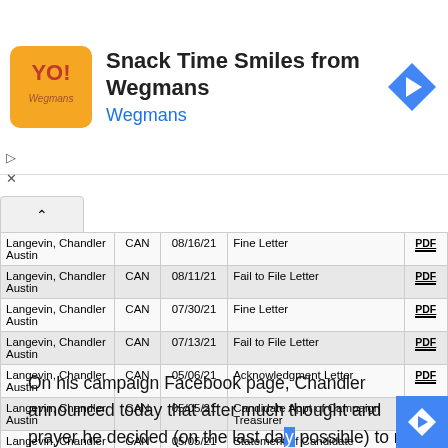[Figure (screenshot): Advertisement banner for Snack Time Smiles from Wegmans with orange logo, navigation arrow icon, play and close controls]
| Name | Type | Date | Description |  |
| --- | --- | --- | --- | --- |
| Langevin, Chandler Austin | CAN | 08/16/21 | Fine Letter | PDF |
| Langevin, Chandler Austin | CAN | 08/11/21 | Fail to File Letter | PDF |
| Langevin, Chandler Austin | CAN | 07/30/21 | Fine Letter | PDF |
| Langevin, Chandler Austin | CAN | 07/13/21 | Fail to File Letter | PDF |
| Langevin, Chandler Austin | CAN | 05/06/21 | Acknowledgment Letter | PDF |
| Langevin, Chandler Austin | CAN | 05/05/21 | Candidate Appt of Campaign Treasurer | PDF |
| Langevin, Chandler Austin | CAN | 05/05/21 | Statement of Candidate | PDF |
| Langevin, Chandler Austin | CAN | 05/05/21 | Candidate Oath - State and Local Partisan Office | PDF |
On his campaign Facebook page, Chandler announced today that after much thought and prayer he decided (on the last day possible) to not run for District 32, and instead run for District